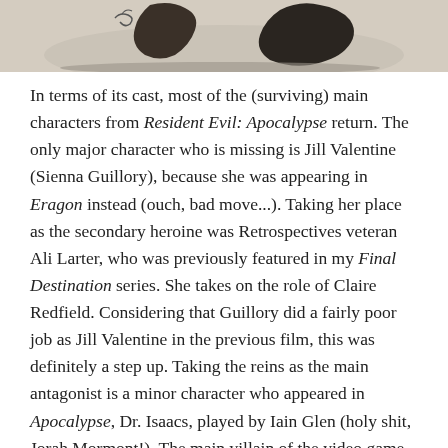[Figure (photo): Partial photo at top of page showing dark silhouette figures, cropped — appears to be an action or movement scene with a light/beige background.]
In terms of its cast, most of the (surviving) main characters from Resident Evil: Apocalypse return. The only major character who is missing is Jill Valentine (Sienna Guillory), because she was appearing in Eragon instead (ouch, bad move...). Taking her place as the secondary heroine was Retrospectives veteran Ali Larter, who was previously featured in my Final Destination series. She takes on the role of Claire Redfield. Considering that Guillory did a fairly poor job as Jill Valentine in the previous film, this was definitely a step up. Taking the reins as the main antagonist is a minor character who appeared in Apocalypse, Dr. Isaacs, played by Iain Glen (holy shit, Jorah Mormont!). The main villain of the video game series, Albert Wesker, also makes an